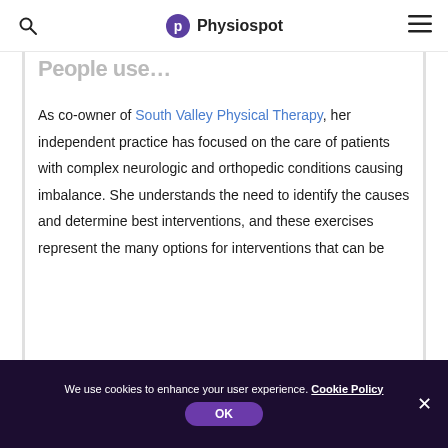Physiospot
As co-owner of South Valley Physical Therapy, her independent practice has focused on the care of patients with complex neurologic and orthopedic conditions causing imbalance. She understands the need to identify the causes and determine best interventions, and these exercises represent the many options for interventions that can be
We use cookies to enhance your user experience. Cookie Policy OK